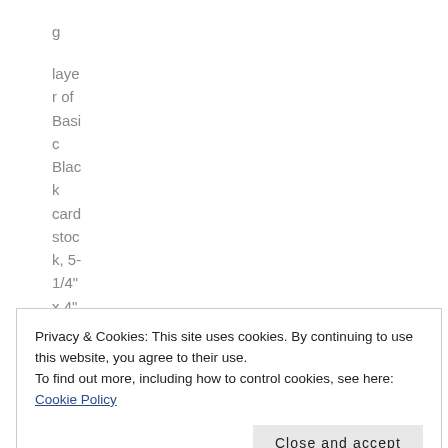layer of Basic Black card stock, 5-1/4" x 4". Cut
Privacy & Cookies: This site uses cookies. By continuing to use this website, you agree to their use.
To find out more, including how to control cookies, see here: Cookie Policy
Fan